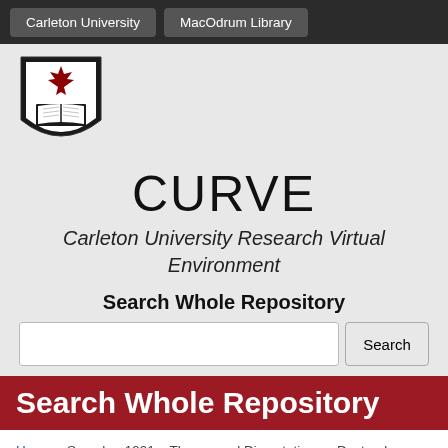Carleton University  MacOdrum Library
[Figure (logo): Carleton University shield logo with red maple leaf and open book on black background]
CURVE
Carleton University Research Virtual Environment
Search Whole Repository
[Search input box and Search button]
Search Whole Repository
Home » Search » 1991 » Theses and Dissertations » Doctoral